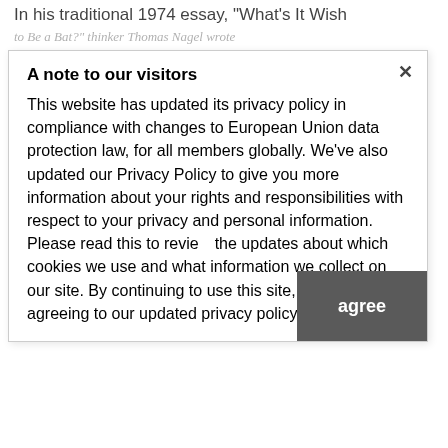In his traditional 1974 essay, "What's It Wish to Be a Bat?" thinker Thomas Nagel wrote that the acutely aware experiences of different animals are inherently subjective and tough to explain. You may image your self with cobwebs in your arms or bugs in your mouth, however you'd proceed to create a psychological caricature of your self as a bat. "I wish to know what it's like for a bat to be a bat," wrote Dr. Nagel. Most bat species understand the world by means of sonar, sensing their environment by listening to the echoes of their very own ultrasonic calls. "But if I attempt to think about it, I'm restricted to the sources of my thoughts and people sources are insufficient for the duty," wrote Dr. Nagel.
A note to our visitors
This website has updated its privacy policy in compliance with changes to European Union data protection law, for all members globally. We've also updated our Privacy Policy to give you more information about your rights and responsibilities with respect to your privacy and personal information. Please read this to review the updates about which cookies we use and what information we collect on our site. By continuing to use this site, you are agreeing to our updated privacy policy.